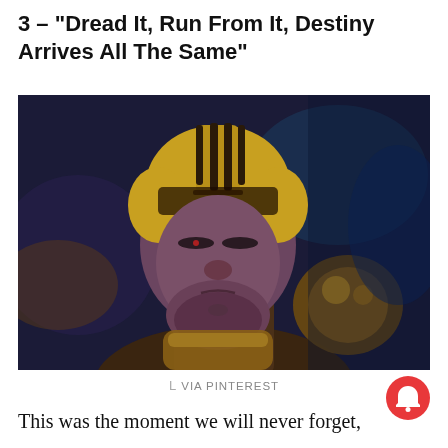3 – "Dread It, Run From It, Destiny Arrives All The Same"
[Figure (photo): Close-up still from Avengers: Infinity War showing Thanos with his golden helmet and gauntlet, looking down with a serious expression against a dark blueish background.]
L VIA PINTEREST
This was the moment we will never forget,